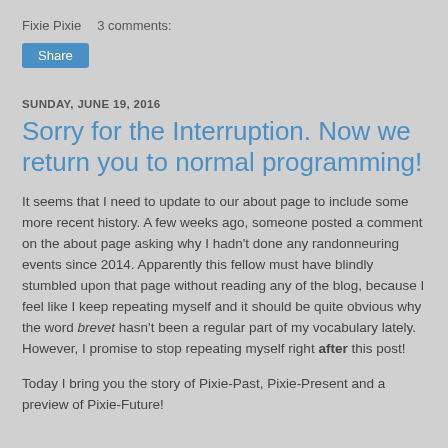Fixie Pixie    3 comments:
Share
SUNDAY, JUNE 19, 2016
Sorry for the Interruption. Now we return you to normal programming!
It seems that I need to update to our about page to include some more recent history. A few weeks ago, someone posted a comment on the about page asking why I hadn't done any randonneuring events since 2014. Apparently this fellow must have blindly stumbled upon that page without reading any of the blog, because I feel like I keep repeating myself and it should be quite obvious why the word brevet hasn't been a regular part of my vocabulary lately. However, I promise to stop repeating myself right after this post!
Today I bring you the story of Pixie-Past, Pixie-Present and a preview of Pixie-Future!